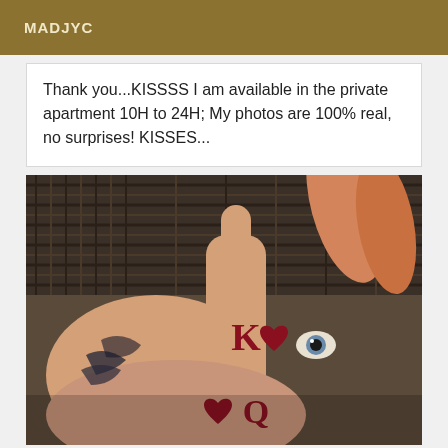MADJYC
Thank you...KISSSS I am available in the private apartment 10H to 24H; My photos are 100% real, no surprises! KISSES...
[Figure (photo): Close-up photo of two hands with tattoos — one hand has 'K' with a heart (King) tattooed on the finger, the other has 'Q' with a heart (Queen) tattooed on the finger, with additional tattoos visible on the wrists/hands, set against a wicker/basket-weave background.]